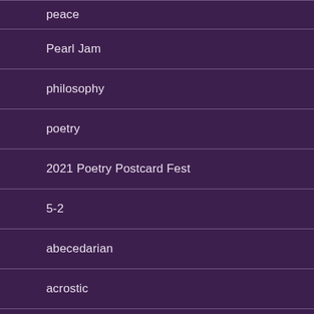peace
Pearl Jam
philosophy
poetry
2021 Poetry Postcard Fest
5-2
abecedarian
acrostic
alouette
American Sentence
anagrammatic selfie